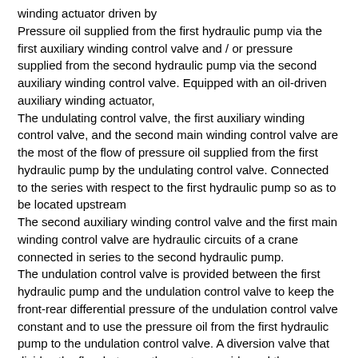winding actuator driven by
Pressure oil supplied from the first hydraulic pump via the first auxiliary winding control valve and / or pressure supplied from the second hydraulic pump via the second auxiliary winding control valve. Equipped with an oil-driven auxiliary winding actuator,
The undulating control valve, the first auxiliary winding control valve, and the second main winding control valve are the most of the flow of pressure oil supplied from the first hydraulic pump by the undulating control valve. Connected to the series with respect to the first hydraulic pump so as to be located upstream
The second auxiliary winding control valve and the first main winding control valve are hydraulic circuits of a crane connected in series to the second hydraulic pump.
The undulation control valve is provided between the first hydraulic pump and the undulation control valve to keep the front-rear differential pressure of the undulation control valve constant and to use the pressure oil from the first hydraulic pump to the undulation control valve. A diversion valve that divides the flow between the upstream side and the downstream side of
The first hydraulic pump is provided between the undulating control valve and the first auxiliary winding control valve so as to introduce the downstream side of the undulating actuator to the upstream side